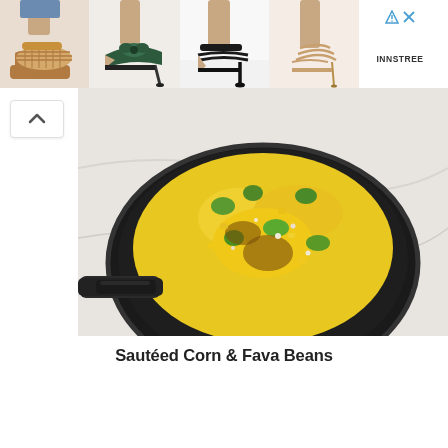[Figure (photo): Advertisement banner showing four images of women's high heel shoes (woven block heel sandal, dark teal mule, black strappy stiletto, nude strappy sandal) with INNSTREE logo and ad icons]
[Figure (photo): Food photo of sautéed corn and fava beans in a dark skillet pan, with yellow corn kernels and green fava beans, viewed from above on a marble surface with woven trivet]
Sautéed Corn & Fava Beans